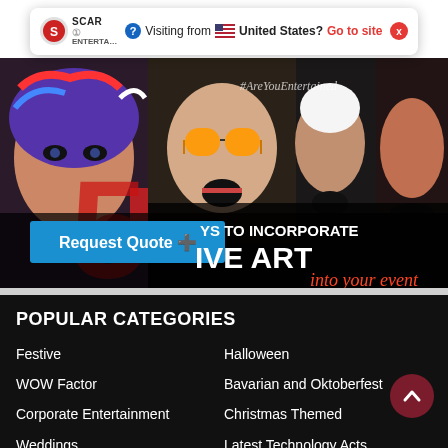[Figure (screenshot): Notification bar with Scarlett Entertainment logo, text 'Visiting from US United States? Go to site' in red, and a red X close button]
[Figure (photo): Hero banner showing colorful graffiti-style portraits of music celebrities with text '5 WAYS TO INCORPORATE LIVE ART into your event' and a blue 'Request Quote +' button overlay]
POPULAR CATEGORIES
Festive
Halloween
WOW Factor
Bavarian and Oktoberfest
Corporate Entertainment
Christmas Themed
Weddings
Latest Technology Acts